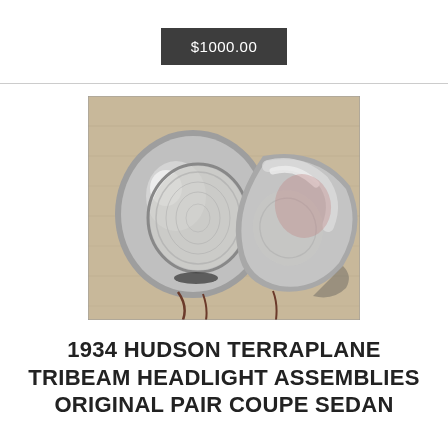$1000.00
[Figure (photo): Two chrome vintage headlight assemblies placed on a wooden surface with wires visible, photographed from above at an angle.]
1934 HUDSON TERRAPLANE TRIBEAM HEADLIGHT ASSEMBLIES ORIGINAL PAIR COUPE SEDAN